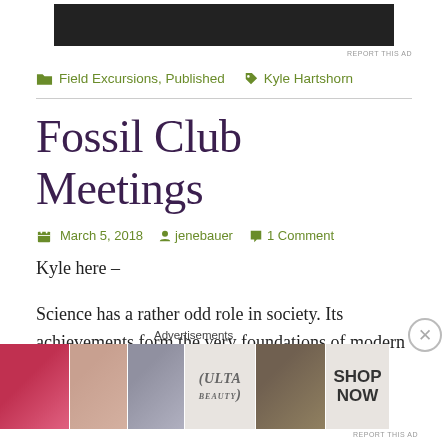[Figure (other): Black advertisement banner at top of page]
REPORT THIS AD
Field Excursions, Published   Kyle Hartshorn
Fossil Club Meetings
March 5, 2018   jenebauer   1 Comment
Kyle here –
Science has a rather odd role in society. Its achievements form the very foundations of modern civilization, yet, to
[Figure (other): ULTA beauty advertisement banner at bottom with makeup imagery and SHOP NOW text]
Advertisements
REPORT THIS AD